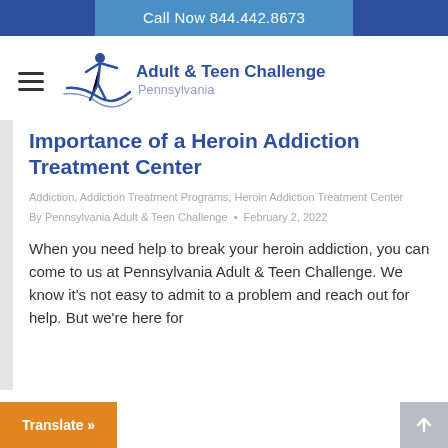Call Now 844.442.8673
[Figure (logo): Adult & Teen Challenge Pennsylvania logo with a stylized figure icon]
Importance of a Heroin Addiction Treatment Center
Addiction, Addiction Treatment Programs, Heroin Addiction Treatment Center
By Pennsylvania Adult & Teen Challenge • February 2, 2022
When you need help to break your heroin addiction, you can come to us at Pennsylvania Adult & Teen Challenge. We know it's not easy to admit to a problem and reach out for help. But we're here for